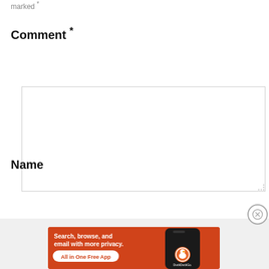marked *
Comment *
[Figure (screenshot): Empty comment text area input box]
Name
[Figure (screenshot): Empty name text input box]
Advertisements
[Figure (screenshot): DuckDuckGo advertisement banner with orange background reading: Search, browse, and email with more privacy. All in One Free App. Shows DuckDuckGo logo on phone.]